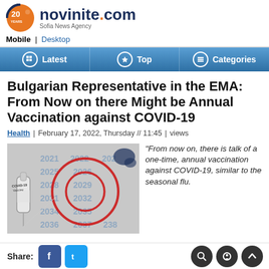novinite.com — Sofia News Agency
Mobile | Desktop
Latest | Top | Categories
Bulgarian Representative in the EMA: From Now on there Might be Annual Vaccination against COVID-19
Health | February 17, 2022, Thursday // 11:45 | views
[Figure (photo): COVID-19 Vaccine vial and syringe with red target/crosshair overlay and years 2021-2036+ in background]
“From now on, there is talk of a one-time, annual vaccination against COVID-19, similar to the seasonal flu.
Share: [Facebook] [Twitter]